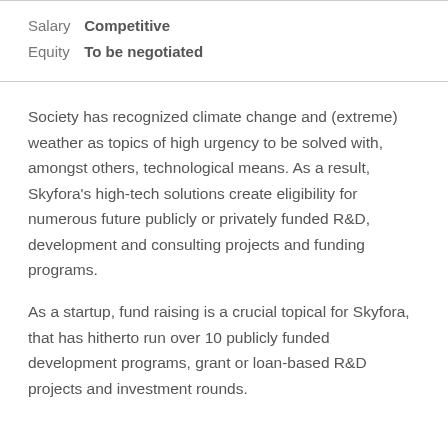Salary  Competitive
Equity  To be negotiated
Society has recognized climate change and (extreme) weather as topics of high urgency to be solved with, amongst others, technological means. As a result, Skyfora's high-tech solutions create eligibility for numerous future publicly or privately funded R&D, development and consulting projects and funding programs.
As a startup, fund raising is a crucial topical for Skyfora, that has hitherto run over 10 publicly funded development programs, grant or loan-based R&D projects and investment rounds.